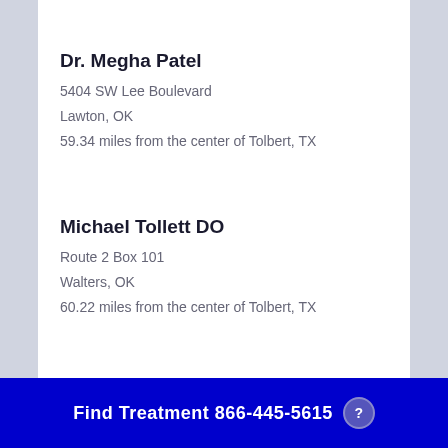Dr. Megha Patel
5404 SW Lee Boulevard
Lawton, OK
59.34 miles from the center of Tolbert, TX
Michael Tollett DO
Route 2 Box 101
Walters, OK
60.22 miles from the center of Tolbert, TX
Find Treatment 866-445-5615